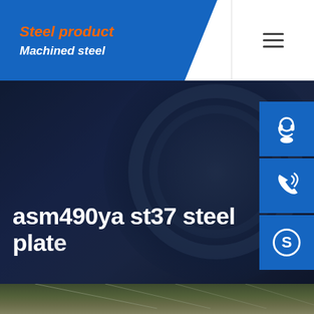Steel product / Machined steel
asm490ya st37 steel plate
[Figure (screenshot): Three blue square side-panel icons: customer service headset, phone with signal waves, Skype logo]
Home / asm490ya st37 steel plate
[Figure (photo): Industrial warehouse interior with steel plates on the floor, structural roof trusses visible]